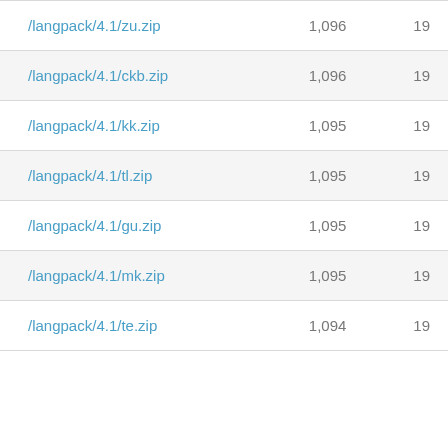| /langpack/4.1/zu.zip | 1,096 | 19 |
| /langpack/4.1/ckb.zip | 1,096 | 19 |
| /langpack/4.1/kk.zip | 1,095 | 19 |
| /langpack/4.1/tl.zip | 1,095 | 19 |
| /langpack/4.1/gu.zip | 1,095 | 19 |
| /langpack/4.1/mk.zip | 1,095 | 19 |
| /langpack/4.1/te.zip | 1,094 | 19 |